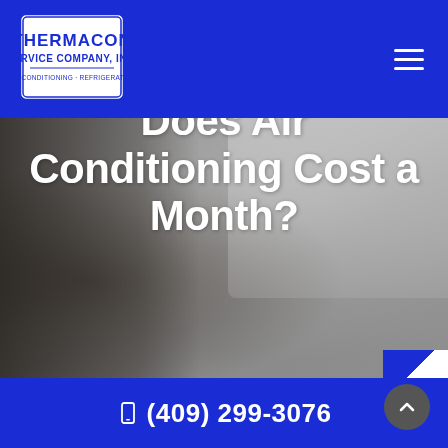[Figure (logo): Thermacon Service Company Inc. logo - white rectangular badge with blue text reading THERMACON SERVICE COMPANY, INC. AIR CONDITIONING · REFRIGERATION]
[Figure (photo): Blurred background photo of a person (seen from behind, dark hair) pointing a remote control at a wall-mounted air conditioning unit]
AC Costs: How Much Does Air Conditioning Cost a Month?
(409) 299-3076